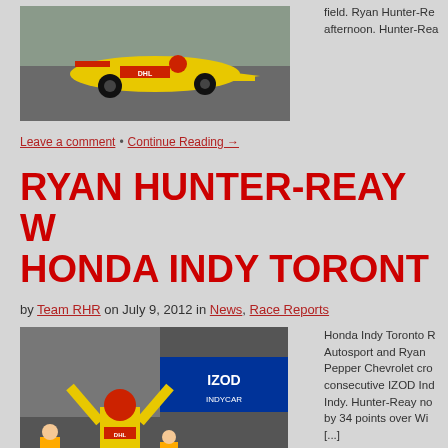[Figure (photo): Yellow DHL IndyCar race car on track, top-left photo]
field. Ryan Hunter-Re afternoon. Hunter-Rea
Leave a comment · Continue Reading →
RYAN HUNTER-REAY W HONDA INDY TORONT
by Team RHR on July 9, 2012 in News, Race Reports
[Figure (photo): Ryan Hunter-Reay celebrating victory at IZOD IndyCar Honda Indy Toronto, arms raised, trophy, DHL suit]
Honda Indy Toronto R Autosport and Ryan Pepper Chevrolet cro consecutive IZOD Ind Indy. Hunter-Reay no by 34 points over Wi [...]